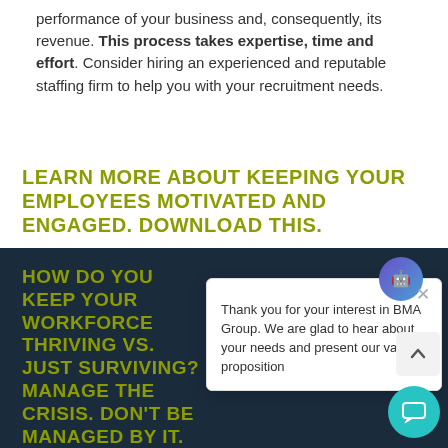performance of your business and, consequently, its revenue. This process takes expertise, time and effort. Consider hiring an experienced and reputable staffing firm to help you with your recruitment needs.
LEARN MORE ABOUT KEEPING YOUR EMPLOYEES MOTIVATED AND ENGAGED. DOWNLOAD THIS.
HOW DO YOU KEEP YOUR WORKFORCE THRIVING VS. JUST SURVIVING? MANAGE THE CRISIS. DON'T BE MANAGED BY IT.
DOWNLOAD THIS IMPORTANT GUIDE
Thank you for your interest in BMA Group. We are glad to hear about your needs and present our value proposition